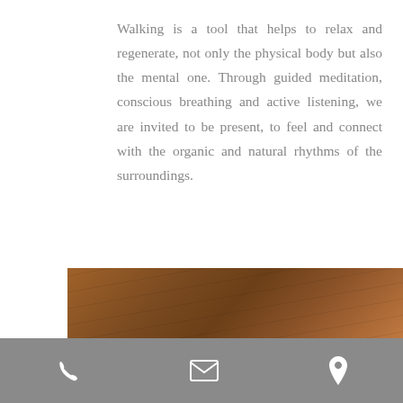Walking is a tool that helps to relax and regenerate, not only the physical body but also the mental one. Through guided meditation, conscious breathing and active listening, we are invited to be present, to feel and connect with the organic and natural rhythms of the surroundings.
Book Now >
[Figure (photo): Wooden ceiling/wall texture photo strip showing natural wood grain, brown tones]
Navigation bar with phone, email, and location icons